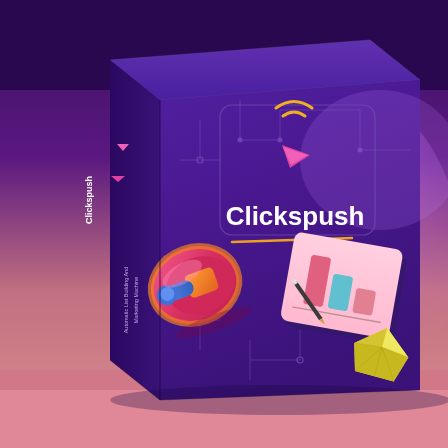[Figure (illustration): 3D product box for 'Clickspush' software. The box has a deep purple gradient background with circuit board decorative lines. On the front face: a white bold 'Clickspush' logo/wordmark in the center, above it a pink triangle cursor icon with yellow wifi/signal arcs, below the title an orange-yellow horizontal line accent. The left spine shows 'Clickspush' text vertically and 'Automatic List Building And Marketing Machine' vertically in small text. In the lower portion of the front face: a 3D pink/red megaphone icon on the left and a 3D bar chart on a tablet/screen with a pencil and yellow gem/diamond shape on the right. The background behind the box is a dark purple at top fading to pink/salmon at bottom.]